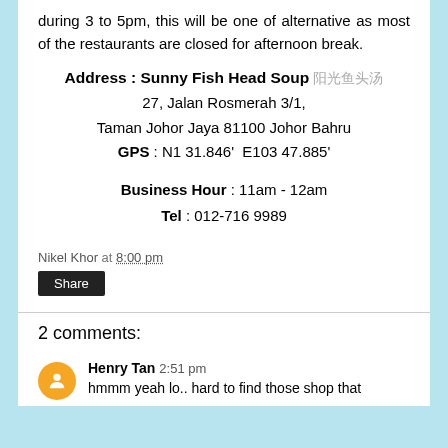during 3 to 5pm, this will be one of alternative as most of the restaurants are closed for afternoon break.
Address : Sunny Fish Head Soup 阳光鱼头汤
27, Jalan Rosmerah 3/1,
Taman Johor Jaya 81100 Johor Bahru
GPS : N1 31.846'  E103 47.885'
Business Hour : 11am - 12am
Tel : 012-716 9989
Nikel Khor at 8:00 pm
Share
2 comments:
Henry Tan  2:51 pm
hmmm yeah lo.. hard to find those shop that